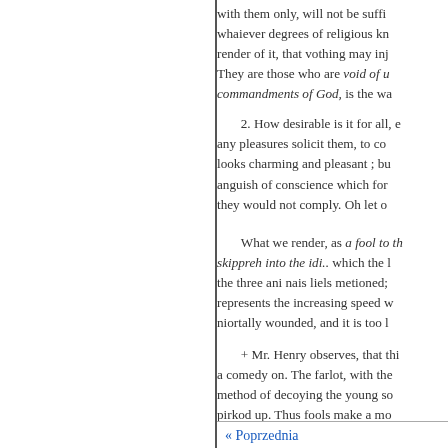with them only, will not be suffi... whaiever degrees of religious kn... render of it, that vothing may inj... They are those who are void of u... commandments of God, is the wa...
2. How desirable is it for all, e... any pleasures solicit them, to co... looks charming and pleasant ; bu... anguish of conscience which for... they would not comply. Oh let o...
What we render, as a fool to th... skippreh into the idi.. which the l... the three ani nais liels metioned;... represents the increasing speed w... niortally wounded, and it is too l...
+ Mr. Henry observes, that thi... a comedy on. The farlot, with the... method of decoying the young so... pirkod up. Thus fools make a mo... very melancholy story, and what...
« Poprzednia